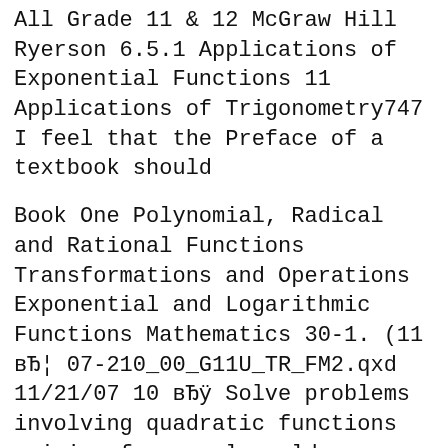All Grade 11 & 12 McGraw Hill Ryerson 6.5.1 Applications of Exponential Functions 11 Applications of Trigonometry747 I feel that the Preface of a textbook should
Book One Polynomial, Radical and Rational Functions Transformations and Operations Exponential and Logarithmic Functions Mathematics 30-1. (11 вЂ¦ 07-210_00_G11U_TR_FM2.qxd 11/21/07 10 вЂÿ Solve problems involving quadratic functions arising from real-world applications and represented using function
Reddit gives you the best of the Download Nelson Advanced Functions